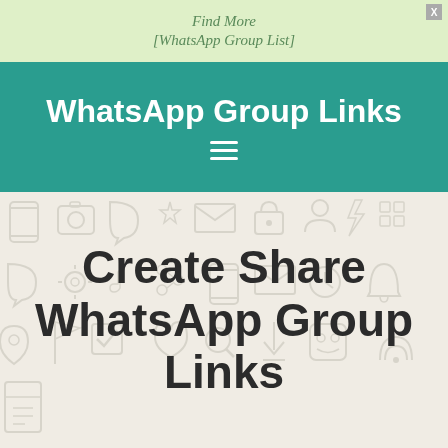Find More
[WhatsApp Group List]
WhatsApp Group Links
[Figure (screenshot): Hamburger menu icon (three horizontal lines) in white on teal background]
Create Share WhatsApp Group Links